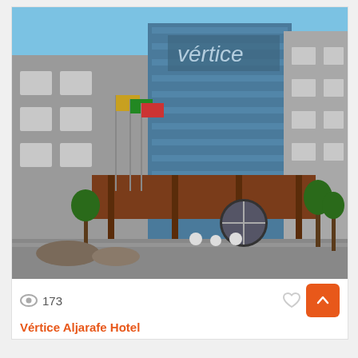[Figure (photo): Exterior photo of Vértice Aljarafe Hotel showing a modern multi-story building with blue glass facade and the hotel name displayed, flags in front, and a covered entrance canopy.]
173
Vértice Aljarafe Hotel